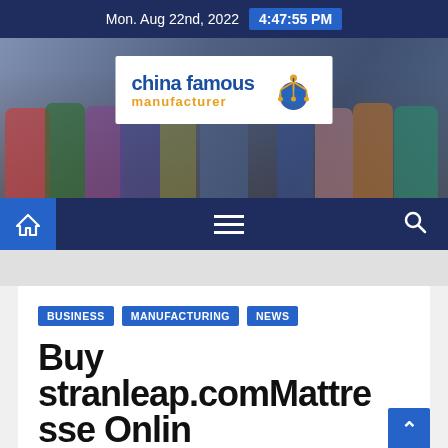Mon. Aug 22nd, 2022  4:47:55 PM
[Figure (photo): Website header banner with group photo of people in an office and 'china famous manufacturer' logo overlay]
[Figure (logo): china famous manufacturer logo with blue globe/chandelier icon]
[Figure (other): Navigation bar with home icon, hamburger menu, and search icon]
BUSINESS   MANUFACTURING   NEWS
Buy stranleap.comMattre
sse Onlin